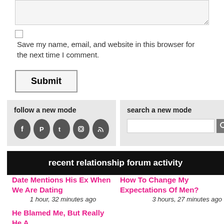[textarea]
Save my name, email, and website in this browser for the next time I comment.
Submit
follow a new mode
search a new mode
recent relationship forum activity
Date Mentions His Ex When We Are Dating
1 hour, 32 minutes ago
How To Change My Expectations Of Men?
3 hours, 27 minutes ago
He Blamed Me, But Really He A...